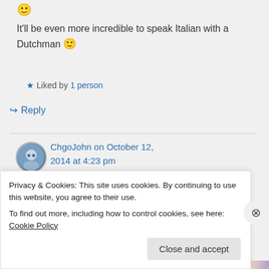🙂
It'll be even more incredible to speak Italian with a Dutchman 🙂
★ Liked by 1 person
↪ Reply
ChgoJohn on October 12, 2014 at 4:23 pm
Ha! I thought the same thing
Privacy & Cookies: This site uses cookies. By continuing to use this website, you agree to their use.
To find out more, including how to control cookies, see here: Cookie Policy
Close and accept